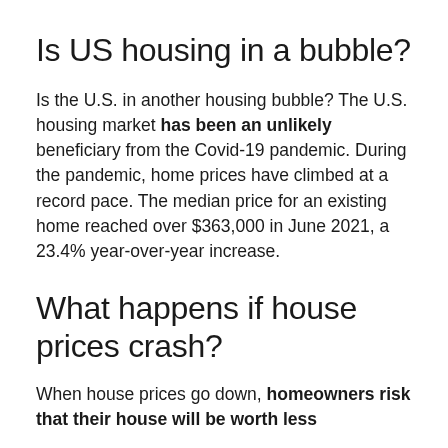Is US housing in a bubble?
Is the U.S. in another housing bubble? The U.S. housing market has been an unlikely beneficiary from the Covid-19 pandemic. During the pandemic, home prices have climbed at a record pace. The median price for an existing home reached over $363,000 in June 2021, a 23.4% year-over-year increase.
What happens if house prices crash?
When house prices go down, homeowners risk that their house will be worth less